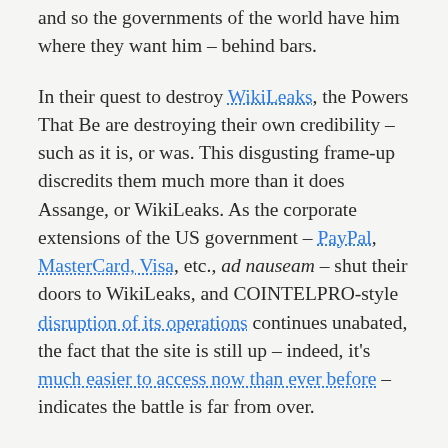and so the governments of the world have him where they want him – behind bars.
In their quest to destroy WikiLeaks, the Powers That Be are destroying their own credibility – such as it is, or was. This disgusting frame-up discredits them much more than it does Assange, or WikiLeaks. As the corporate extensions of the US government – PayPal, MasterCard, Visa, etc., ad nauseam – shut their doors to WikiLeaks, and COINTELPRO-style disruption of its operations continues unabated, the fact that the site is still up – indeed, it's much easier to access now than ever before – indicates the battle is far from over.
What this all means is that the future of the internet is being decided, right here, right now: if the worldwide alliance of tyrants and crooks succeeds in shutting WikiLeaks down, the rest of us are doomed. If they can get away with this, they can get away with